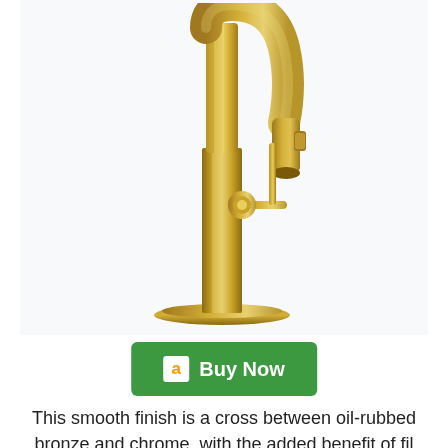[Figure (photo): A champagne gold/brushed gold kitchen bar faucet with a pull-down sprayer head, single cylindrical handle on side, and a round base plate. The faucet has a tall goose-neck arc spout with the spray head visible at the end.]
Buy Now
This smooth finish is a cross between oil-rubbed bronze and chrome, with the added benefit of fil...